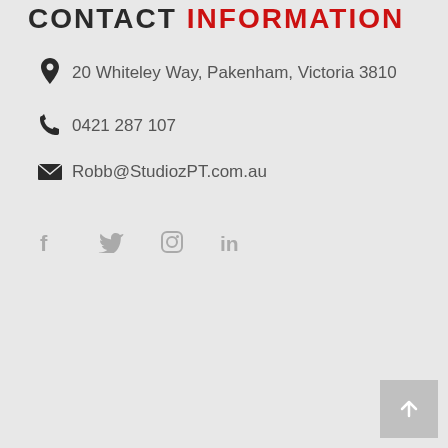CONTACT INFORMATION
20 Whiteley Way, Pakenham, Victoria 3810
0421 287 107
Robb@StudiozPT.com.au
[Figure (infographic): Social media icons: Facebook, Twitter, Instagram, LinkedIn]
[Figure (other): Back to top button with upward arrow]